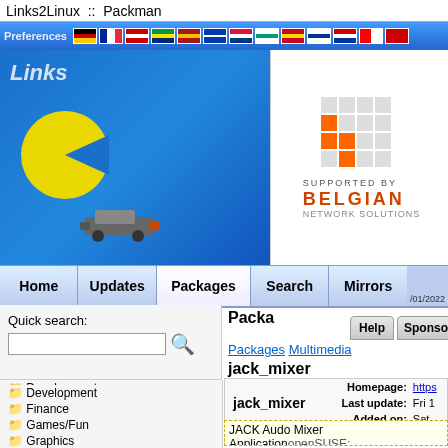Links2Linux :: Packman
[Figure (screenshot): Navigation banner with flag icons and blue gradient background]
[Figure (logo): Links2Linux Packman logo with pac-man character on blue background]
[Figure (illustration): Supported by Belgian Network Solutions logo]
Home | Updates | Packages | Search | Mirrors
Quick search:
Development
Finance
Games/Fun
Graphics
Internet
Kernel
Libraries
Multimedia
Network
Other
Security
System
Packages Multimedia
jack_mixer
|  | Homepage: | Last update: | Added on: |
| --- | --- | --- | --- |
| jack_mixer | https... | Fri 1... | Sat... |
JACK Audo Mixer Application
| Releases |
| --- |
| 15.1-pm154.1.72 | openSUSE_Leap 15.4 |
| 15.1-pm154.1.49 | openSUSE_Leap 15.4 |
| 15.1-pm153.1.118 | openSUSE_Leap 15.3 |
| 15.1-pm153.1.57 | openSUSE_Leap 15.3 |
| 15.1-pm152.1.38 | openSUSE_Leap 15.2 |